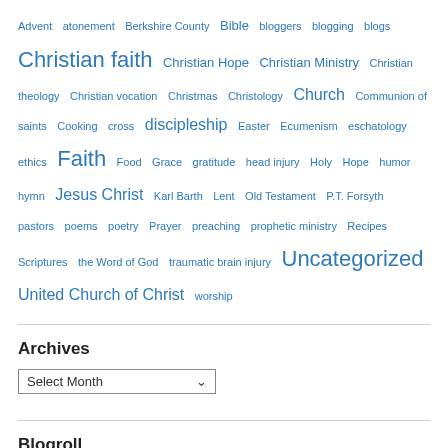Advent atonement Berkshire County Bible bloggers blogging blogs Christian faith Christian Hope Christian Ministry Christian theology Christian vocation Christmas Christology Church Communion of saints Cooking cross discipleship Easter Ecumenism eschatology ethics Faith Food Grace gratitude head injury Holy Hope humor hymn Jesus Christ Karl Barth Lent Old Testament P.T. Forsyth pastors poems poetry Prayer preaching prophetic ministry Recipes Scriptures the Word of God traumatic brain injury Uncategorized United Church of Christ worship
Archives
Blogroll